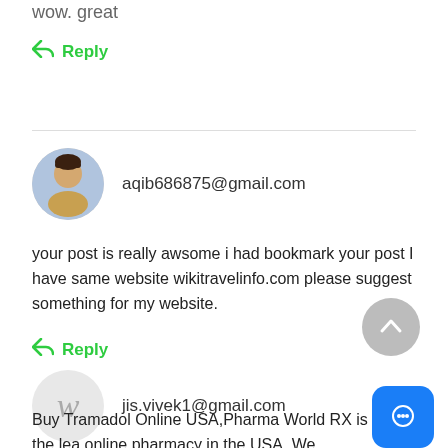wow. great
Reply
aqib686875@gmail.com
your post is really awsome i had bookmark your post I have same website wikitravelinfo.com please suggest something for my website.
Reply
jis.vivek1@gmail.com
Buy Tramadol Online USA,Pharma World RX is the lea online pharmacy in the USA. We specialize in the onlin of online store form at the are of Tramhadal li